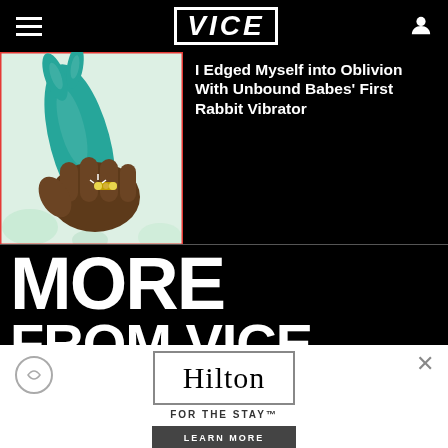VICE
I Edged Myself into Oblivion With Unbound Babes' First Rabbit Vibrator
[Figure (photo): A hand holding a teal/mint green rabbit vibrator against a light floral background]
MORE FROM VICE
[Figure (advertisement): Hilton 'For the Stay' advertisement with Learn More button]